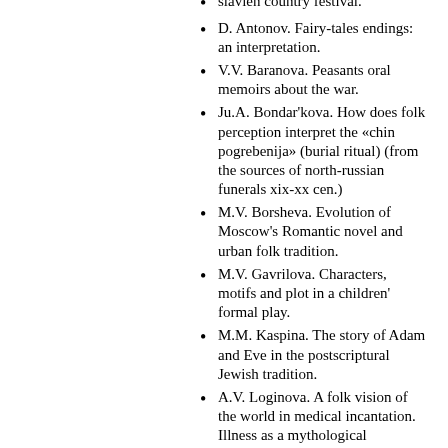slavien country festival.
D. Antonov. Fairy-tales endings: an interpretation.
V.V. Baranova. Peasants oral memoirs about the war.
Ju.A. Bondar'kova. How does folk perception interpret the «chin pogrebenija» (burial ritual) (from the sources of north-russian funerals xix-xx cen.)
M.V. Borsheva. Evolution of Moscow's Romantic novel and urban folk tradition.
M.V. Gavrilova. Characters, motifs and plot in a children' formal play.
M.M. Kaspina. The story of Adam and Eve in the postscriptural Jewish tradition.
A.V. Loginova. A folk vision of the world in medical incantation. Illness as a mythological personage.
A.A. Trofimov. An orphan in